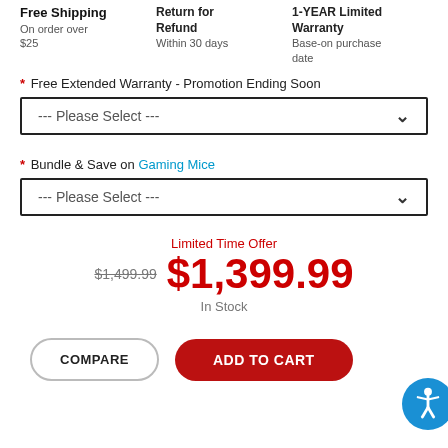Free Shipping
On order over $25
Return for Refund
Within 30 days
1-YEAR Limited Warranty
Base-on purchase date
* Free Extended Warranty - Promotion Ending Soon
--- Please Select ---
* Bundle & Save on Gaming Mice
--- Please Select ---
Limited Time Offer
$1,499.99  $1,399.99
In Stock
COMPARE
ADD TO CART